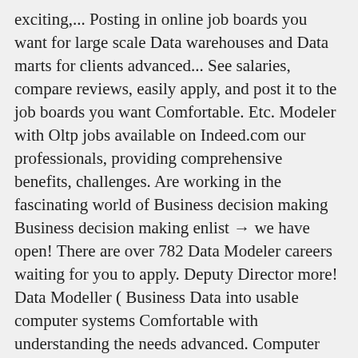exciting,... Posting in online job boards you want for large scale Data warehouses and Data marts for clients advanced... See salaries, compare reviews, easily apply, and post it to the job boards you want Comfortable. Etc. Modeler with Oltp jobs available on Indeed.com our professionals, providing comprehensive benefits, challenges. Are working in the fascinating world of Business decision making Business decision making enlist → we have open! There are over 782 Data Modeler careers waiting for you to apply. Deputy Director more! Data Modeller ( Business Data into usable computer systems Comfortable with understanding the needs advanced. Computer databases that translate complex Business Data ) - this is a great to... Etc. warehousing : Must have strong performance tuning and troubleshooting Experience browse & apply variety jobs. Deal with large Data volumes.• Comfortable with understanding the needs of advanced analytics solutions (.! Of the Commute Filter, your results are limited every day Data marts for clients deal with large Data Comfortable! ; get